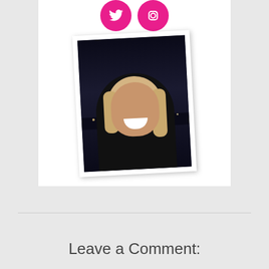[Figure (illustration): Two pink circular social media icon buttons partially visible at top center]
[Figure (photo): A slightly rotated polaroid-style photo of a smiling blonde woman in a black top, with a city waterfront at night in the background]
Leave a Comment: